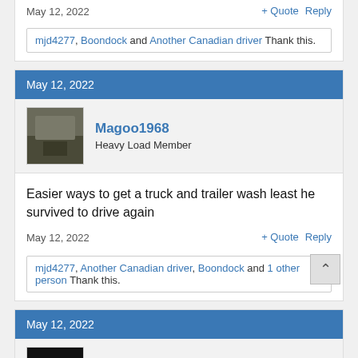assault.
May 12, 2022
+ Quote   Reply
mjd4277, Boondock and Another Canadian driver Thank this.
May 12, 2022
Magoo1968
Heavy Load Member
Easier ways to get a truck and trailer wash least he survived to drive again
May 12, 2022
+ Quote   Reply
mjd4277, Another Canadian driver, Boondock and 1 other person Thank this.
May 12, 2022
Boondock